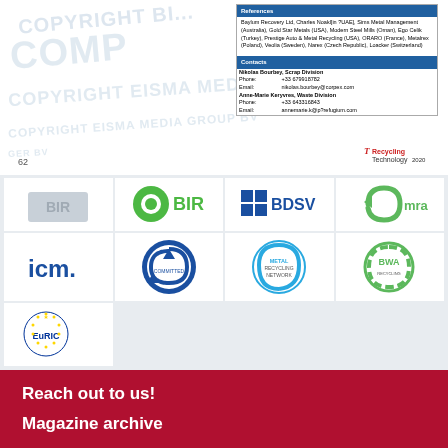[Figure (screenshot): Document page with watermark 'COPYRIGHT EISMA MEDIA GROUP' and an information box with References and Contacts sections from a recycling/scrap industry publication, page number 62, and a Technology 2020 brand logo]
[Figure (logo): Partner logos grid: BIR (green circle logo), BDSV (blue squares logo), mra (green recycling logo), icm. (blue text logo), circular recycling certification logo, Metal Recycling Network logo, BWA green recycling logo, EuRIC (EU stars recycling logo)]
Reach out to us!
Magazine archive